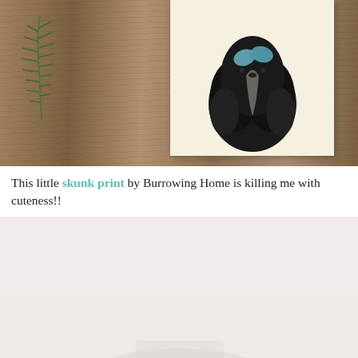[Figure (photo): A wooden surface with a sprig of rosemary on the left, and a card/print showing a black fluffy skunk with a blue bow/butterfly on its head, on a cream background, placed on the wooden surface.]
This little skunk print by Burrowing Home is killing me with cuteness!!
[Figure (photo): A light pinkish-beige background with what appears to be a light-colored object or product partially visible at the bottom of the image.]